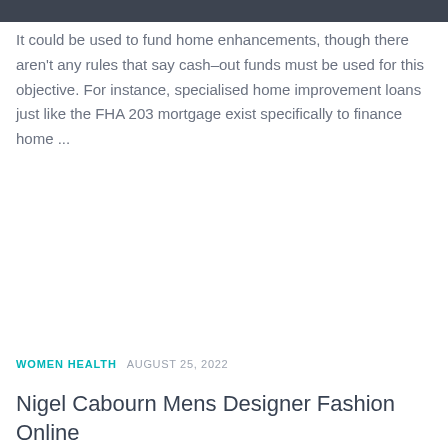It could be used to fund home enhancements, though there aren't any rules that say cash–out funds must be used for this objective. For instance, specialised home improvement loans just like the FHA 203 mortgage exist specifically to finance home ...
WOMEN HEALTH  AUGUST 25, 2022
Nigel Cabourn Mens Designer Fashion Online